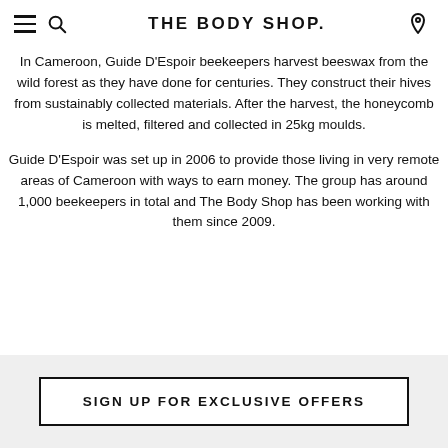THE BODY SHOP.
In Cameroon, Guide D'Espoir beekeepers harvest beeswax from the wild forest as they have done for centuries. They construct their hives from sustainably collected materials. After the harvest, the honeycomb is melted, filtered and collected in 25kg moulds.
Guide D'Espoir was set up in 2006 to provide those living in very remote areas of Cameroon with ways to earn money. The group has around 1,000 beekeepers in total and The Body Shop has been working with them since 2009.
SIGN UP FOR EXCLUSIVE OFFERS